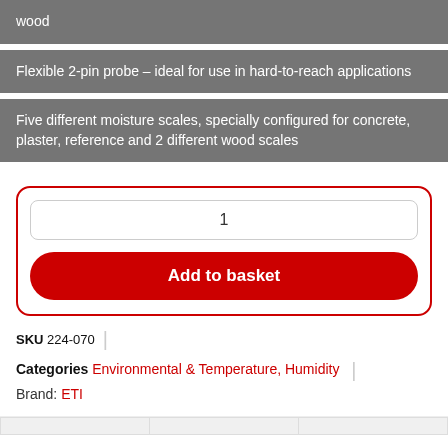wood
Flexible 2-pin probe – ideal for use in hard-to-reach applications
Five different moisture scales, specially configured for concrete, plaster, reference and 2 different wood scales
1
Add to basket
SKU 224-070
Categories Environmental & Temperature, Humidity
Brand: ETI